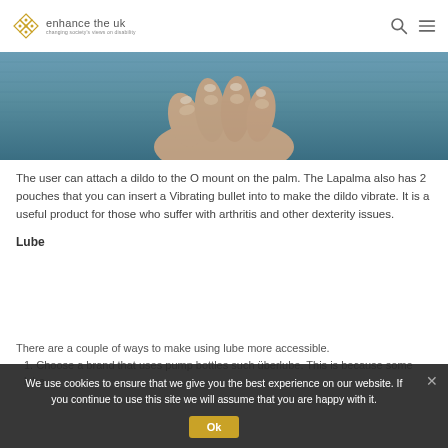enhance the uk — changing society's views on disability
[Figure (photo): Close-up photo of a hand, fingers curled, against a denim fabric background]
The user can attach a dildo to the O mount on the palm. The Lapalma also has 2 pouches that you can insert a Vibrating bullet into to make the dildo vibrate.  It is a useful product for those who suffer with arthritis and other dexterity issues.
Lube
There are a couple of ways to make using lube more accessible.
1. Choose a brand that uses pump bottles such überlube. This is because some lube
We use cookies to ensure that we give you the best experience on our website. If you continue to use this site we will assume that you are happy with it.
Ok